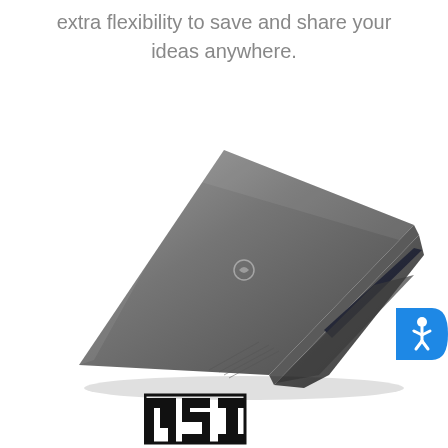extra flexibility to save and share your ideas anywhere.
[Figure (photo): MSI laptop partially open, viewed from behind and above, showing dark gray aluminum lid with MSI logo, resting on its bottom edge with keyboard partially visible on the right side.]
[Figure (logo): MSI brand logo in bold black stylized lettering at the bottom of the page.]